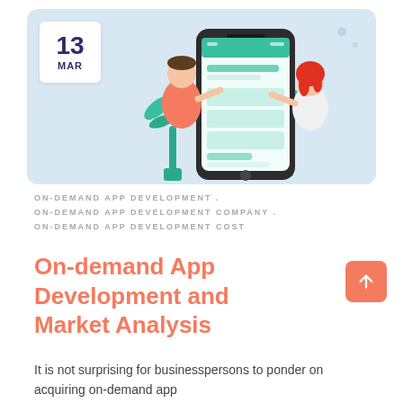[Figure (illustration): Hero banner with light blue background showing two cartoon characters holding a smartphone with a teal app interface, flanked by teal potted plants, with a date box showing 13 MAR in the upper left]
ON-DEMAND APP DEVELOPMENT .
ON-DEMAND APP DEVELOPMENT COMPANY .
ON-DEMAND APP DEVELOPMENT COST
On-demand App Development and Market Analysis
It is not surprising for businesspersons to ponder on acquiring on-demand app